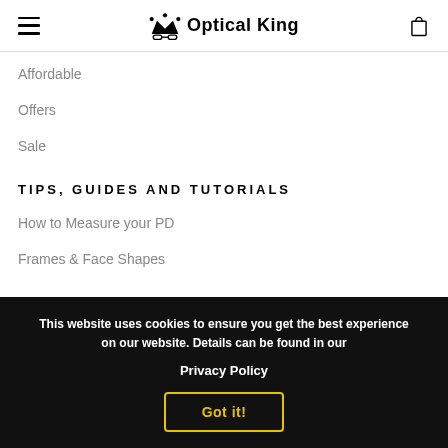Optical King
Affordable
Offers
Sale
TIPS, GUIDES AND TUTORIALS
How to Measure your PD
Frames & Face Shapes
This website uses cookies to ensure you get the best experience on our website. Details can be found in our Privacy Policy
Got it!